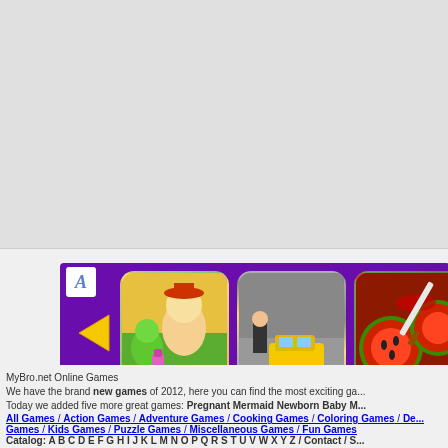[Figure (screenshot): Online games banner with purple background showing three game thumbnails (Subway Surfers style, racing game, fruit ninja style), a yellow left arrow, and letter A marker]
MyBro.net Online Games
We have the brand new games of 2012, here you can find the most exciting ga...
Today we added five more great games: Pregnant Mermaid Newborn Baby M...
All Games / Action Games / Adventure Games / Cooking Games / Coloring Games / De...
Games / Kids Games / Puzzle Games / Miscellaneous Games / Fun Games
Catalog: A B C D E F G H I J K L M N O P Q R S T U V W X Y Z / Contact / S...